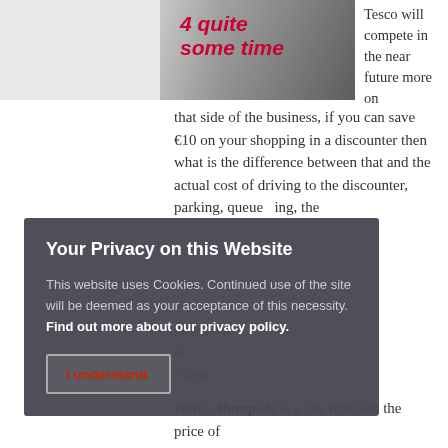[Figure (photo): Photo showing a mug of coffee and a keyboard with bold italic red text overlay reading '4 quite some time']
Tesco will compete in the near future more on that side of the business, if you can save €10 on your shopping in a discounter then what is the difference between that and the actual cost of driving to the discounter, parking, queueing, the [shopping list] [it] [best] [ould be] [ut.]
[lp you] [u:]
Petrol: Pumps.ie is a site that lists the price of
Your Privacy on this Website
This website uses Cookies. Continued use of the site will be deemed as your acceptance of this necessity. Find out more about our privacy policy.
I understand.